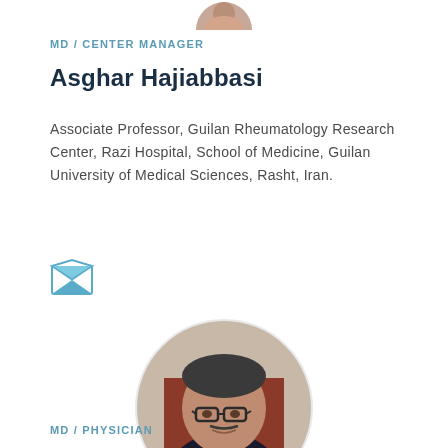[Figure (photo): Partial circular profile photo at top of page, cropped at bottom]
MD / CENTER MANAGER
Asghar Hajiabbasi
Associate Professor, Guilan Rheumatology Research Center, Razi Hospital, School of Medicine, Guilan University of Medical Sciences, Rasht, Iran.
[Figure (illustration): Email envelope icon in teal/blue colors]
[Figure (photo): Circular profile photo of a middle-aged man with glasses and dark hair, wearing dark clothing, seated in a reddish-brown chair]
MD / PHYSICIAN